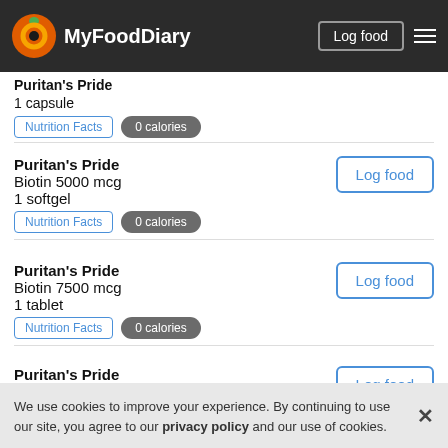MyFoodDiary — Log food
Puritan's Pride — 1 capsule — 0 calories
Puritan's Pride — Biotin 5000 mcg — 1 softgel — 0 calories
Puritan's Pride — Biotin 7500 mcg — 1 tablet — 0 calories
Puritan's Pride — Super Vitamin C 1000 Complex — 1 caplet
We use cookies to improve your experience. By continuing to use our site, you agree to our privacy policy and our use of cookies.